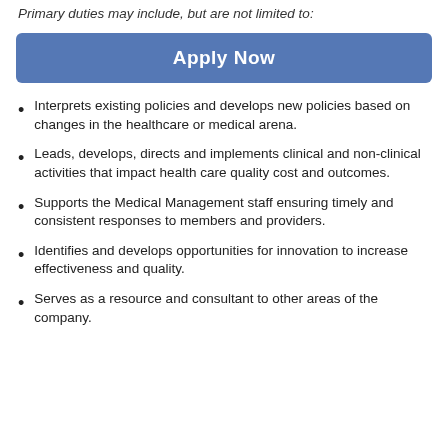Primary duties may include, but are not limited to:
Apply Now
Interprets existing policies and develops new policies based on changes in the healthcare or medical arena.
Leads, develops, directs and implements clinical and non-clinical activities that impact health care quality cost and outcomes.
Supports the Medical Management staff ensuring timely and consistent responses to members and providers.
Identifies and develops opportunities for innovation to increase effectiveness and quality.
Serves as a resource and consultant to other areas of the company.